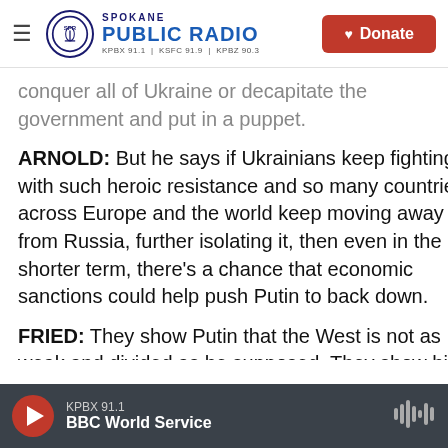[Figure (logo): Spokane Public Radio logo with hamburger menu and Donate button]
conquer all of Ukraine or decapitate the government and put in a puppet.
ARNOLD: But he says if Ukrainians keep fighting with such heroic resistance and so many countries across Europe and the world keep moving away from Russia, further isolating it, then even in the shorter term, there's a chance that economic sanctions could help push Putin to back down.
FRIED: They show Putin that the West is not as weak and divided as he supposed. They show his people that there are consequences for what Putin is doing, nasty consequences. They show Putin's
KPBX 91.1  BBC World Service